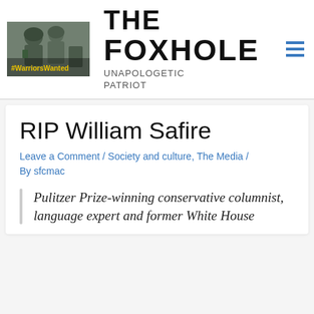[Figure (photo): Military soldiers in camouflage gear with text overlay '#WarriorsWanted']
THE FOXHOLE UNAPOLOGETIC PATRIOT
RIP William Safire
Leave a Comment / Society and culture, The Media / By sfcmac
Pulitzer Prize-winning conservative columnist, language expert and former White House